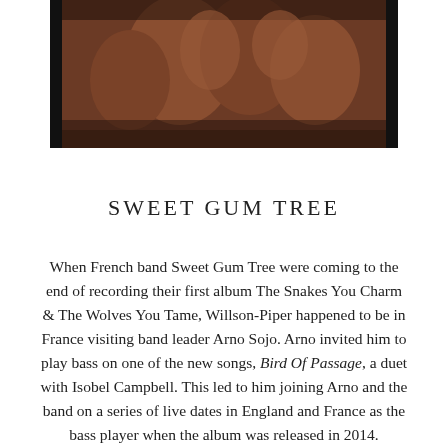[Figure (photo): A sepia-toned photograph showing figures, cropped at top, with dark border edges on left and right sides.]
SWEET GUM TREE
When French band Sweet Gum Tree were coming to the end of recording their first album The Snakes You Charm & The Wolves You Tame, Willson-Piper happened to be in France visiting band leader Arno Sojo. Arno invited him to play bass on one of the new songs, Bird Of Passage, a duet with Isobel Campbell. This led to him joining Arno and the band on a series of live dates in England and France as the bass player when the album was released in 2014.